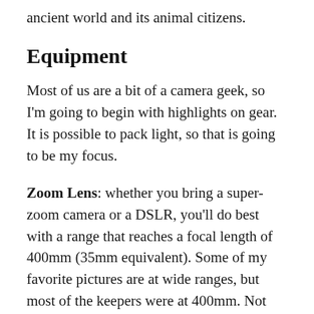ancient world and its animal citizens.
Equipment
Most of us are a bit of a camera geek, so I'm going to begin with highlights on gear. It is possible to pack light, so that is going to be my focus.
Zoom Lens: whether you bring a super-zoom camera or a DSLR, you'll do best with a range that reaches a focal length of 400mm (35mm equivalent). Some of my favorite pictures are at wide ranges, but most of the keepers were at 400mm. Not everyone has this reach in their kit, unless they are doing a lot of wildlife photography or birding. To keep the cost down, I have a few suggestions.